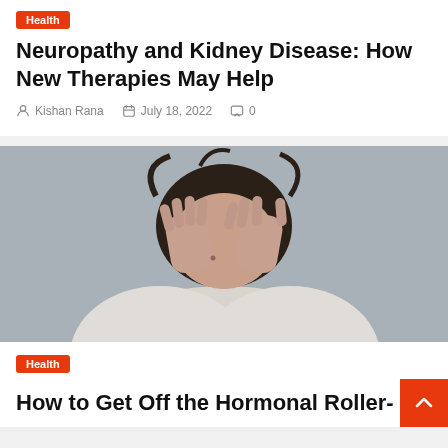Health
Neuropathy and Kidney Disease: How New Therapies May Help
Kishan Rana   July 18, 2022   0
[Figure (photo): A woman in a white top covering her face with both hands, appearing distressed or in pain, against a gray background.]
Health
How to Get Off the Hormonal Roller-